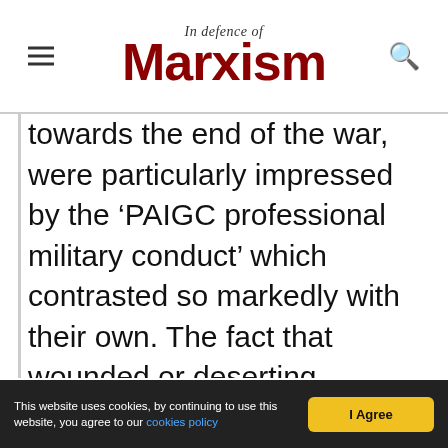In Defence of Marxism
towards the end of the war, were particularly impressed by the ‘PAIGC professional military conduct’ which contrasted so markedly with their own. The fact that wounded or deserting soldiers were well treated and ultimately released filtered back to the barracks in Guinea. Carlos Fabiao, who was appointed Governor of Guinea after the April revolution, recounted the story of a Portuguese soldier who had been left for dead by his own unit. The PAIGC found him, transported him to safety
This website uses cookies, by continuing to use this website, you agree to our cookies policy